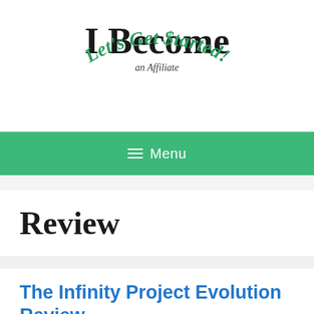[Figure (logo): Website logo reading 'I Become an Affiliate Let's Get $tarted!' with bold serif text and green cursive tagline in an arc]
≡ Menu
Review
The Infinity Project Evolution Review